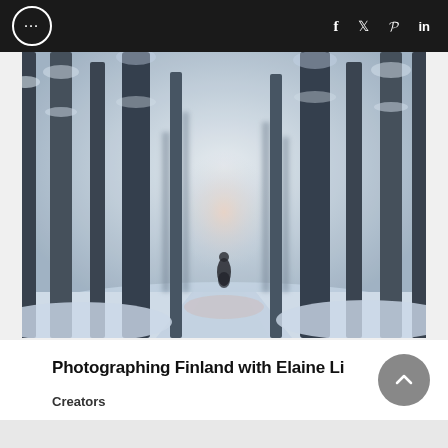... f  t  p  in
[Figure (photo): A winter forest scene in Finland. Tall snow-covered conifer trees line both sides, with a lone figure standing in the snowy path between them. The scene is misty and blue-toned with soft pink light in the center background.]
Photographing Finland with Elaine Li
Creators